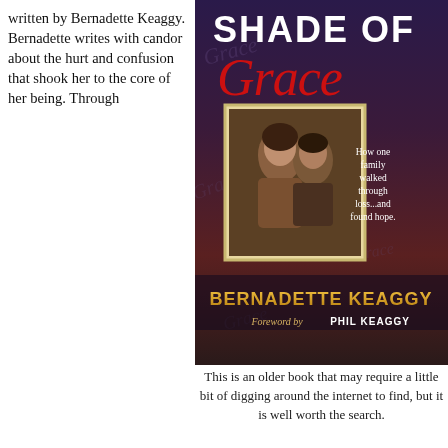written by Bernadette Keaggy. Bernadette writes with candor about the hurt and confusion that shook her to the core of her being. Through
[Figure (illustration): Book cover of 'Shade of Grace' by Bernadette Keaggy. Dark purple/blue background with script watermark text. Title 'SHADE OF' in large white block letters at top, 'Grace' in large red script below. Center has a framed sepia photo of a man and woman. Text reads 'How one family walked through loss...and found hope.' Author name 'BERNADETTE KEAGGY' in gold bold letters at bottom, with 'Foreword by PHIL KEAGGY' beneath.]
This is an older book that may require a little bit of digging around the internet to find, but it is well worth the search.